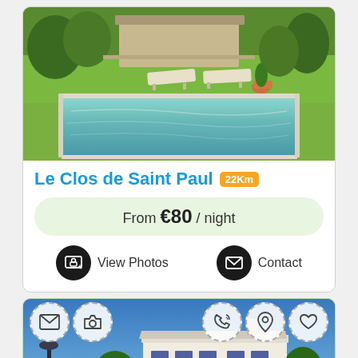[Figure (photo): Swimming pool with lounge chairs on green lawn, trees and villa in background]
Le Clos de Saint Paul 22Km
From €80 / night
View Photos
Contact
[Figure (photo): White villa with blue shutters, green lawn with sun loungers, overlay icons for mail, camera, phone, location, heart]